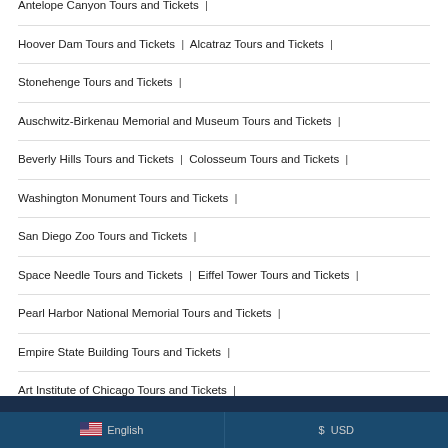Antelope Canyon Tours and Tickets |
Hoover Dam Tours and Tickets | Alcatraz Tours and Tickets |
Stonehenge Tours and Tickets |
Auschwitz-Birkenau Memorial and Museum Tours and Tickets |
Beverly Hills Tours and Tickets | Colosseum Tours and Tickets |
Washington Monument Tours and Tickets |
San Diego Zoo Tours and Tickets |
Space Needle Tours and Tickets | Eiffel Tower Tours and Tickets |
Pearl Harbor National Memorial Tours and Tickets |
Empire State Building Tours and Tickets |
Art Institute of Chicago Tours and Tickets |
Aquarium of the Pacific Tours and Tickets |
Blue Lagoon Tours and Tickets | Burj Khalifa Tours and Tickets |
Metropolitan Museum of Art (The Met) Tours and Tickets
English | $ USD